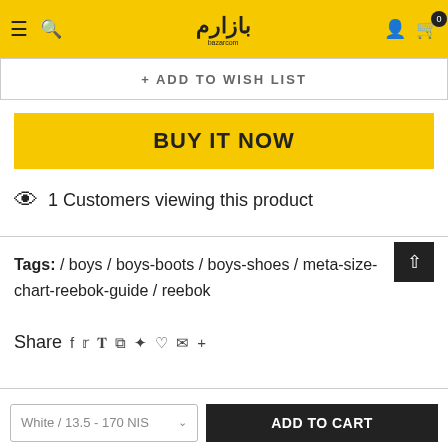bazarcom — navigation header with logo, search, user, cart (0)
+ ADD TO WISH LIST
BUY IT NOW
1 Customers viewing this product
Tags: / boys / boys-boots / boys-shoes / meta-size-chart-reebok-guide / reebok
Share  f  𝕏  P  ⊞  ♦  ♡  ✉  +
White / 13.5 - 170 NIS
ADD TO CART